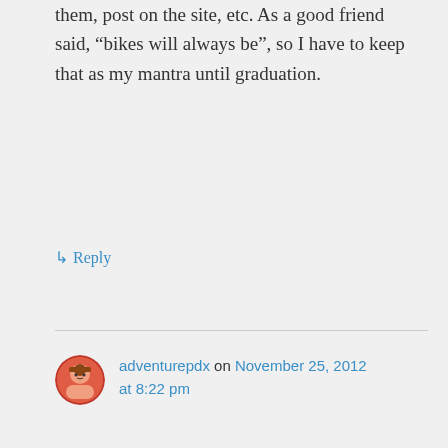them, post on the site, etc. As a good friend said, “bikes will always be”, so I have to keep that as my mantra until graduation.
↳ Reply
adventurepdx on November 25, 2012 at 8:22 pm
Yeah, taking off fenders for maybe four months isn’t worth the fuss. Anyways, I like the way they look, and all of my fendered bikes have rear lights mounted to fender (two dynamo, one battery), so it would be a pain in the ass to redo all that.